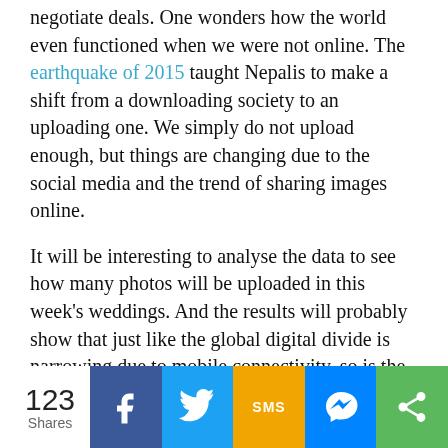negotiate deals. One wonders how the world even functioned when we were not online. The earthquake of 2015 taught Nepalis to make a shift from a downloading society to an uploading one. We simply do not upload enough, but things are changing due to the social media and the trend of sharing images online.
It will be interesting to analyse the data to see how many photos will be uploaded in this week's weddings. And the results will probably show that just like the global digital divide is narrowing due to mobile connectivity, so is the digital divide within Nepal.
Read also: Nepal's changing media landscape
[Figure (infographic): Social share bar showing 123 Shares count, and buttons for Facebook, Twitter, SMS, Messenger, and More sharing options]